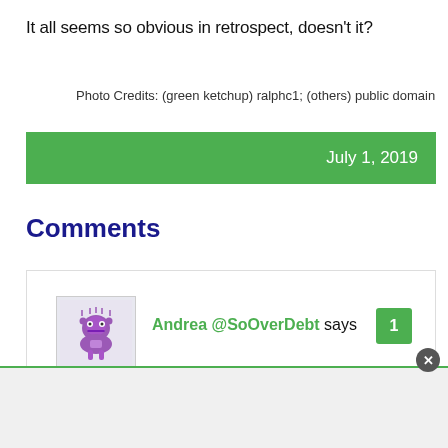It all seems so obvious in retrospect, doesn't it?
Photo Credits: (green ketchup) ralphc1; (others) public domain
July 1, 2019
Comments
Andrea @SoOverDebt says
1